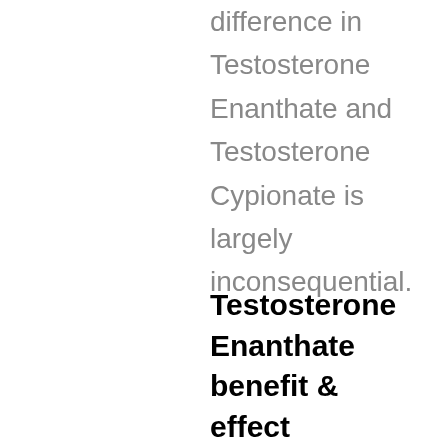difference in Testosterone Enanthate and Testosterone Cypionate is largely inconsequential.
Testosterone Enanthate benefit & effect